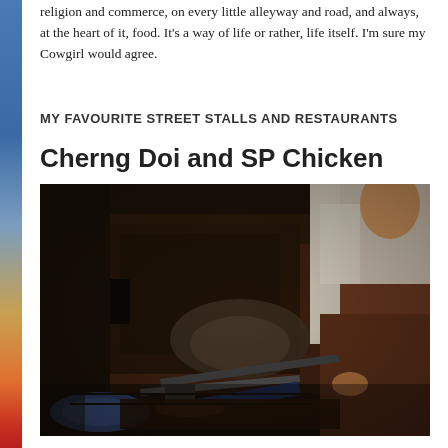religion and commerce, on every little alleyway and road, and always, at the heart of it, food. It's a way of life or rather, life itself. I'm sure my Cowgirl would agree.
MY FAVOURITE STREET STALLS AND RESTAURANTS
Cherng Doi and SP Chicken
[Figure (photo): A street food vendor cooking chicken at a charcoal grill. The vendor wears a white t-shirt and brown apron and is leaning over a rustic dark metal grill. Kitchen tools including tongs and brushes are visible on the grill surface. A blue plate is visible in the lower left corner.]